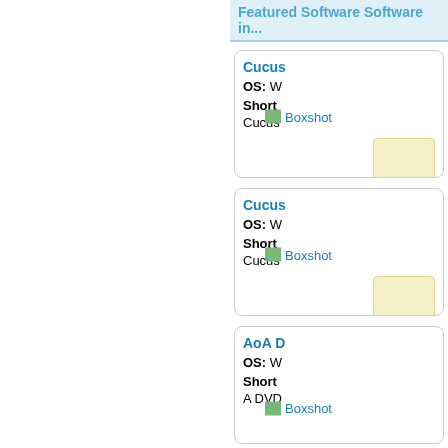Featured Software Software in...
Cucus
OS: W
Short
Cucus
[Figure (illustration): Boxshot image placeholder with small green icon and text link 'Boxshot']
Cucus
OS: W
Short
Cucus
[Figure (illustration): Boxshot image placeholder with small green icon and text link 'Boxshot']
AoA D
OS: W
Short
A DVD
[Figure (illustration): Boxshot image placeholder with small green icon and text link 'Boxshot']